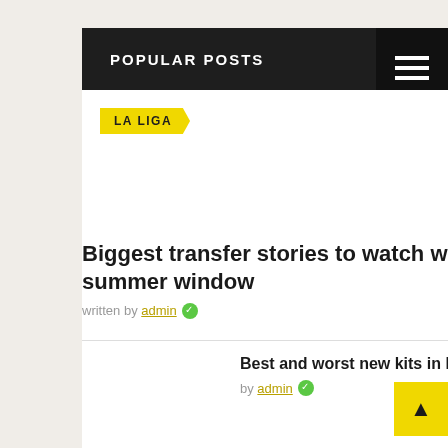POPULAR POSTS
LA LIGA
Biggest transfer stories to watch with 1 month left in the summer window
written by admin ✓
Best and worst new kits in European soccer this season
by admin ✓